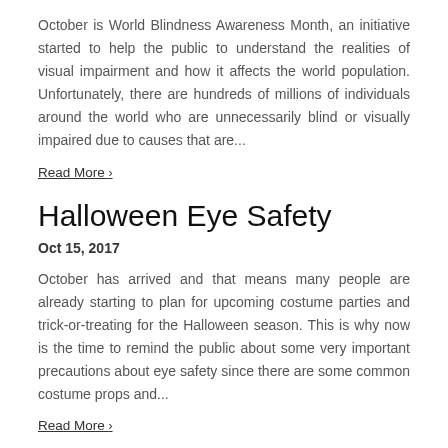October is World Blindness Awareness Month, an initiative started to help the public to understand the realities of visual impairment and how it affects the world population. Unfortunately, there are hundreds of millions of individuals around the world who are unnecessarily blind or visually impaired due to causes that are...
Read More ›
Halloween Eye Safety
Oct 15, 2017
October has arrived and that means many people are already starting to plan for upcoming costume parties and trick-or-treating for the Halloween season. This is why now is the time to remind the public about some very important precautions about eye safety since there are some common costume props and...
Read More ›